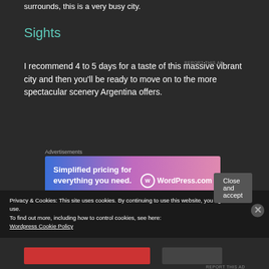surrounds, this is a very busy city.
Sights
I recommend 4 to 5 days for a taste of this massive vibrant city and then you’ll be ready to move on to the more spectacular scenery Argentina offers.
[Figure (other): WordPress.com advertisement banner: 'Simplified pricing for everything you need.' with WordPress.com logo on gradient blue-purple-pink background]
Privacy & Cookies: This site uses cookies. By continuing to use this website, you agree to their use.
To find out more, including how to control cookies, see here: Wordpress Cookie Policy
Close and accept